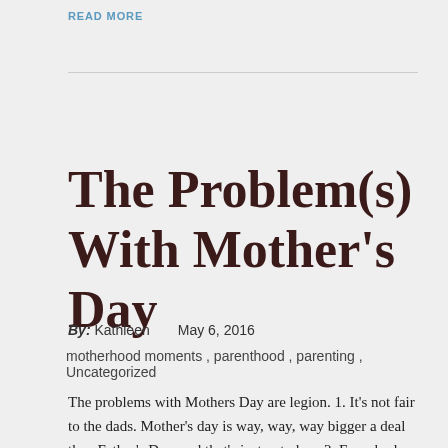READ MORE
The Problem(s) With Mother's Day
By: Kathleen    May 6, 2016
motherhood moments ,  parenthood ,  parenting ,  Uncategorized
The problems with Mothers Day are legion. 1. It's not fair to the dads. Mother's day is way, way, way bigger a deal than Father's Day, and that's just not okay. 2. Everybody wants to give mom gifts for one day, make these adorable crafts that